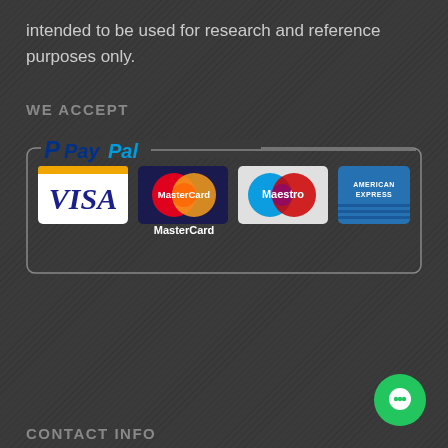intended to be used for research and reference purposes only.
WE ACCEPT
[Figure (logo): Payment methods: PayPal, Visa, MasterCard, Maestro, American Express logos displayed in a rounded rectangle border]
CONTACT INFO